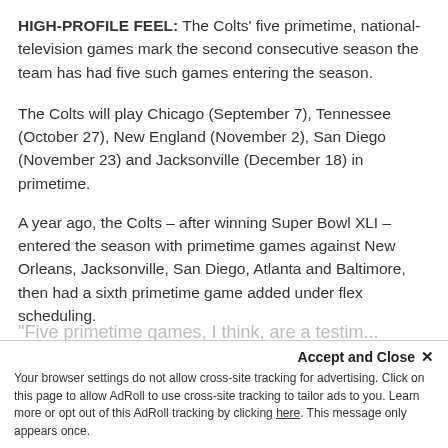HIGH-PROFILE FEEL: The Colts' five primetime, national-television games mark the second consecutive season the team has had five such games entering the season.
The Colts will play Chicago (September 7), Tennessee (October 27), New England (November 2), San Diego (November 23) and Jacksonville (December 18) in primetime.
A year ago, the Colts – after winning Super Bowl XLI – entered the season with primetime games against New Orleans, Jacksonville, San Diego, Atlanta and Baltimore, then had a sixth primetime game added under flex scheduling.
"Five primetime games, I think, are a testim...
Accept and Close ✕
Your browser settings do not allow cross-site tracking for advertising. Click on this page to allow AdRoll to use cross-site tracking to tailor ads to you. Learn more or opt out of this AdRoll tracking by clicking here. This message only appears once.